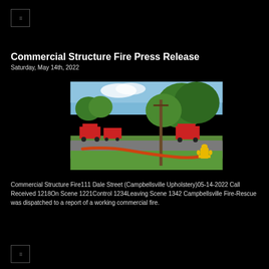[Figure (logo): Small logo/icon box in top left corner]
Commercial Structure Fire Press Release
Saturday, May 14th, 2022
[Figure (photo): Outdoor fire scene photo showing fire hoses on grass and road, fire trucks in background, large trees, and a yellow fire hydrant in the foreground right]
Commercial Structure Fire111 Dale Street (Campbellsville Upholstery)05-14-2022 Call Received 1218On Scene 1221Control 1234Leaving Scene 1342 Campbellsville Fire-Rescue was dispatched to a report of a working commercial fire.
[Figure (logo): Small logo/icon box]